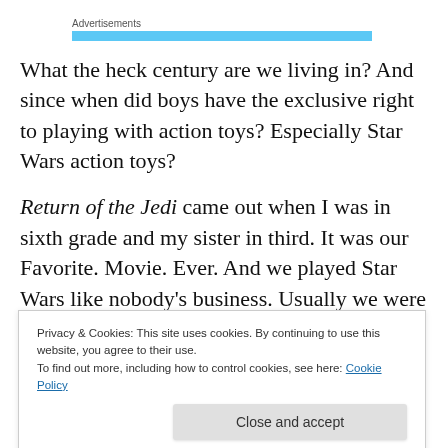Advertisements
What the heck century are we living in? And since when did boys have the exclusive right to playing with action toys? Especially Star Wars action toys?
Return of the Jedi came out when I was in sixth grade and my sister in third. It was our Favorite. Movie. Ever. And we played Star Wars like nobody's business. Usually we were
Privacy & Cookies: This site uses cookies. By continuing to use this website, you agree to their use.
To find out more, including how to control cookies, see here: Cookie Policy
Close and accept
She didn't see the attraction but I loved them. That year